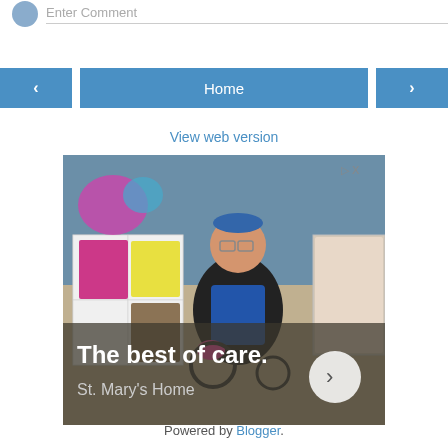Enter Comment
< Home >
View web version
[Figure (photo): Advertisement photo showing a person in a wheelchair smiling in a colorful room. Text overlay reads 'The best of care. St. Mary's Home' with a forward arrow button.]
Powered by Blogger.